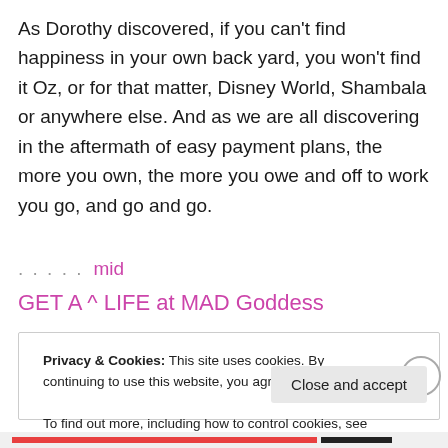As Dorothy discovered, if you can't find happiness in your own back yard, you won't find it Oz, or for that matter, Disney World, Shambala or anywhere else. And as we are all discovering in the aftermath of easy payment plans, the more you own, the more you owe and off to work you go, and go and go.
. . . . .   mid
GET A ^ LIFE at MAD Goddess
Privacy & Cookies: This site uses cookies. By continuing to use this website, you agree to their use.
To find out more, including how to control cookies, see here: Cookie Policy
Close and accept